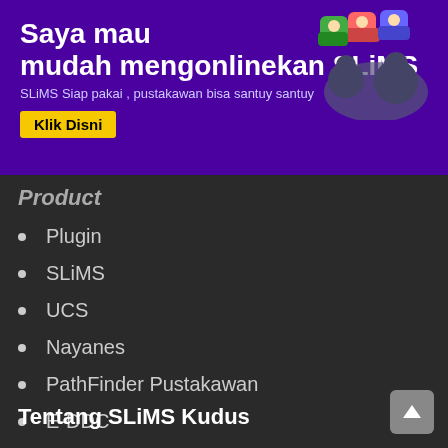[Figure (other): Purple banner advertisement for SLiMS online hosting service with cartoon avatar icons]
Product
Plugin
SLiMS
UCS
Nayanes
PathFinder Pustakawan
E-DDC
Tentang SLiMS Kudus